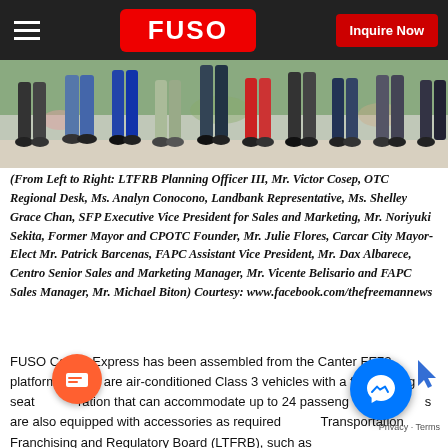FUSO — Inquire Now
[Figure (photo): Photo showing feet and legs of a group of people standing outdoors, cropped at waist level. Background has flowers/plants.]
(From Left to Right: LTFRB Planning Officer III, Mr. Victor Cosep, OTC Regional Desk, Ms. Analyn Conocono, Landbank Representative, Ms. Shelley Grace Chan, SFP Executive Vice President for Sales and Marketing, Mr. Noriyuki Sekita, Former Mayor and CPOTC Founder, Mr. Julie Flores, Carcar City Mayor-Elect Mr. Patrick Barcenas, FAPC Assistant Vice President, Mr. Dax Albarece, Centro Senior Sales and Marketing Manager, Mr. Vicente Belisario and FAPC Sales Manager, Mr. Michael Biton) Courtesy: www.facebook.com/thefreemannews
FUSO Canter Express has been assembled from the Canter FE73 platform. These are air-conditioned Class 3 vehicles with a front-facing seat configuration that can accommodate up to 24 passengers. The models are also equipped with accessories as required by the Land Transportation Franchising and Regulatory Board (LTFRB), such as